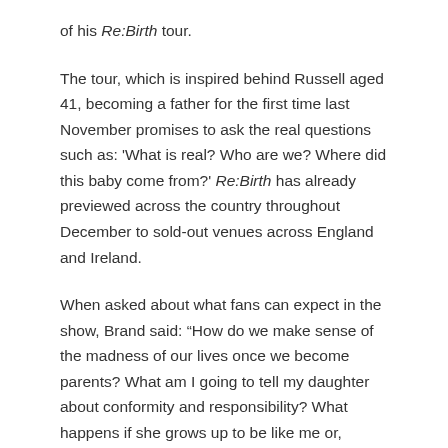of his Re:Birth tour.
The tour, which is inspired behind Russell aged 41, becoming a father for the first time last November promises to ask the real questions such as: 'What is real? Who are we? Where did this baby come from?' Re:Birth has already previewed across the country throughout December to sold-out venues across England and Ireland.
When asked about what fans can expect in the show, Brand said: “How do we make sense of the madness of our lives once we become parents? What am I going to tell my daughter about conformity and responsibility? What happens if she grows up to be like me or, worse, date someone like me?” He also promises to tackle the turbulent matrix of modern politics, media, sex, fatherhood and death.